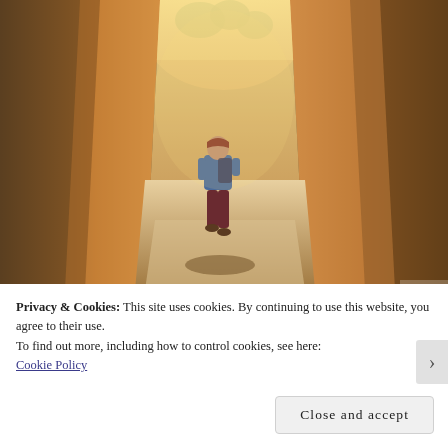[Figure (photo): A hiker walking through a narrow canyon tunnel passage with orange/tan sandstone walls on both sides, bright light at the top, and green trees visible through the opening above. The hiker is wearing a blue jacket and dark red pants with a backpack.]
Privacy & Cookies: This site uses cookies. By continuing to use this website, you agree to their use.
To find out more, including how to control cookies, see here:
Cookie Policy
Close and accept